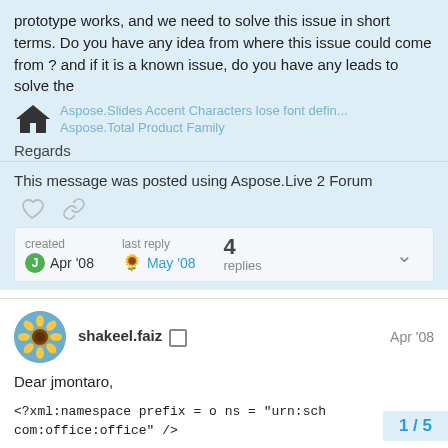prototype works, and we need to solve this issue in short terms. Do you have any idea from where this issue could come from ? and if it is a known issue, do you have any leads to solve the
[Figure (illustration): Home icon (house silhouette) in black, with faded link text 'Aspose.Slides Accent Characters lose font defin...' and 'Aspose.Total Product Family']
Regards
This message was posted using Aspose.Live 2 Forum
created Apr '08    last reply May '08    4 replies
shakeel.faiz  Apr '08
Dear jmontaro,
<?xml:namespace prefix = o ns = "urn:sch com:office:office" />
1 / 5